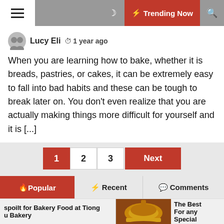Trending Now
Lucy Eli  1 year ago
When you are learning how to bake, whether it is breads, pastries, or cakes, it can be extremely easy to fall into bad habits and these can be tough to break later on. You don't even realize that you are actually making things more difficult for yourself and it is [...]
1  2  3  Next
Popular  Recent  Comments
3 weeks ago
Most famous types of custom ice cream cups
spoilt for Bakery Food at Tiong u Bakery
Bundt Cake – The Best For any Special Birthd…